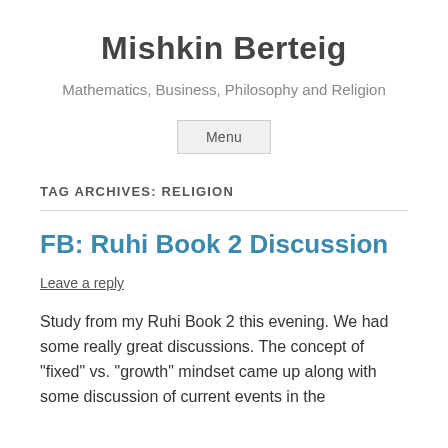Mishkin Berteig
Mathematics, Business, Philosophy and Religion
Menu
TAG ARCHIVES: RELIGION
FB: Ruhi Book 2 Discussion
Leave a reply
Study from my Ruhi Book 2 this evening. We had some really great discussions. The concept of “fixed” vs. “growth” mindset came up along with some discussion of current events in the